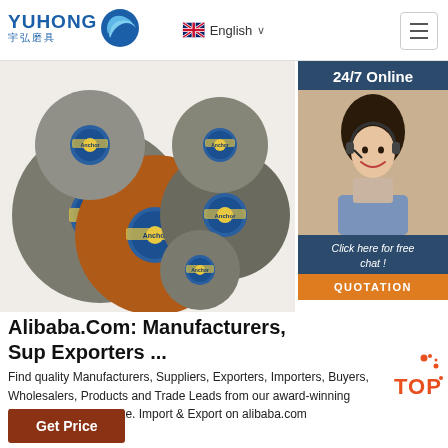[Figure (logo): YUHONG (宇弘磨具) logo with blue wave/circle icon]
[Figure (screenshot): UK flag with English text and dropdown arrow for language selection]
[Figure (photo): Grinding wheels/abrasive discs in various sizes and colors (grey, brown, orange) with blue Anchor brand labels]
[Figure (photo): 24/7 Online panel with customer service agent wearing headset, 'Click here for free chat!' text, and orange QUOTATION button]
Alibaba.Com: Manufacturers, Sup Exporters ...
Find quality Manufacturers, Suppliers, Exporters, Importers, Buyers, Wholesalers, Products and Trade Leads from our award-winning International Trade Site. Import & Export on alibaba.com
[Figure (other): Orange TOP badge with dots]
Get Price